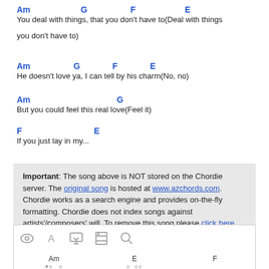Am  G  F  E
You deal with things, that you don't have to(Deal with things
you don't have to)
Am  G  F  E
He doesn't love ya, I can tell by his charm(No, no)
Am  G
But you could feel this real love(Feel it)
F  E
If you just lay in my...
Important: The song above is NOT stored on the Chordie server. The original song is hosted at www.azchords.com. Chordie works as a search engine and provides on-the-fly formatting. Chordie does not index songs against artists'/composers' will. To remove this song please click here.
[Figure (other): Toolbar with icons: eye, letter A, download, print, magnify]
[Figure (other): Guitar chord diagrams for Am, E, and F chords]